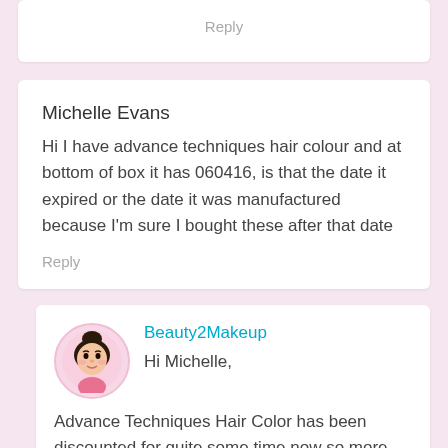Reply
Michelle Evans
Hi I have advance techniques hair colour and at bottom of box it has 060416, is that the date it expired or the date it was manufactured because I'm sure I bought these after that date
Reply
Beauty2Makeup
Hi Michelle,
Advance Techniques Hair Color has been discounted for quite some time now so more than